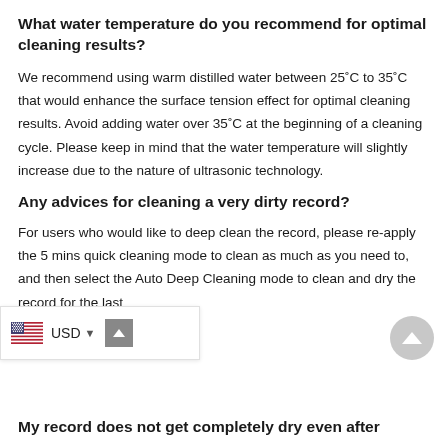What water temperature do you recommend for optimal cleaning results?
We recommend using warm distilled water between 25°C to 35°C that would enhance the surface tension effect for optimal cleaning results. Avoid adding water over 35°C at the beginning of a cleaning cycle. Please keep in mind that the water temperature will slightly increase due to the nature of ultrasonic technology.
Any advices for cleaning a very dirty record?
For users who would like to deep clean the record, please re-apply the 5 mins quick cleaning mode to clean as much as you need to, and then select the Auto Deep Cleaning mode to clean and dry the record for the last
My record does not get completely dry even after